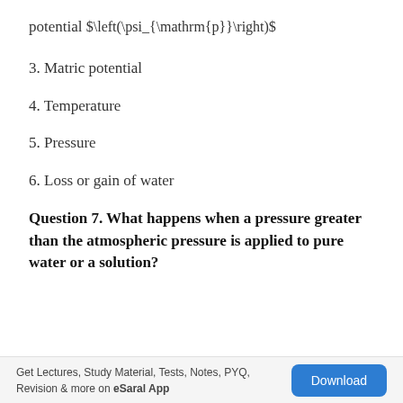potential $(\psi_{\mathrm{p}})$
3. Matric potential
4. Temperature
5. Pressure
6. Loss or gain of water
Question 7. What happens when a pressure greater than the atmospheric pressure is applied to pure water or a solution?
Get Lectures, Study Material, Tests, Notes, PYQ, Revision & more on eSaral App  Download